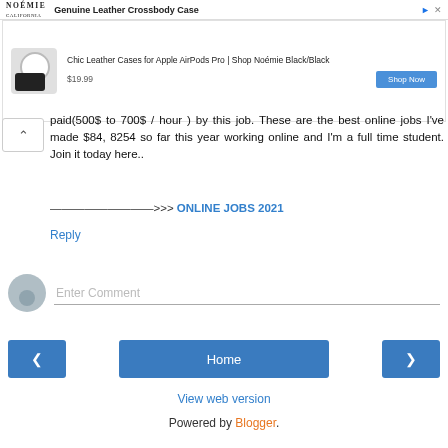[Figure (screenshot): Advertisement banner: NOÉMIE brand logo, 'Genuine Leather Crossbody Case' title with blue arrow and close X icons]
[Figure (screenshot): Ad content: AirPods case product image, text 'Chic Leather Cases for Apple AirPods Pro | Shop Noémie Black/Black', price $19.99, 'Shop Now' blue button]
paid(500$ to 700$ / hour ) by this job. These are the best online jobs I've made $84, 8254 so far this year working online and I'm a full time student. Join it today here..
——————————>>> ONLINE JOBS 2021
Reply
Enter Comment
Home
View web version
Powered by Blogger.